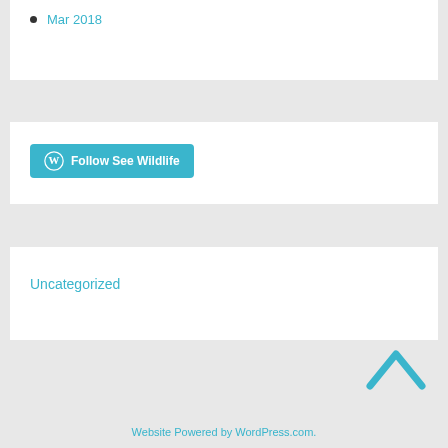Mar 2018
[Figure (other): Follow See Wildlife button with WordPress icon]
Uncategorized
[Figure (other): Upward chevron/caret navigation icon in cyan/teal color]
Website Powered by WordPress.com.